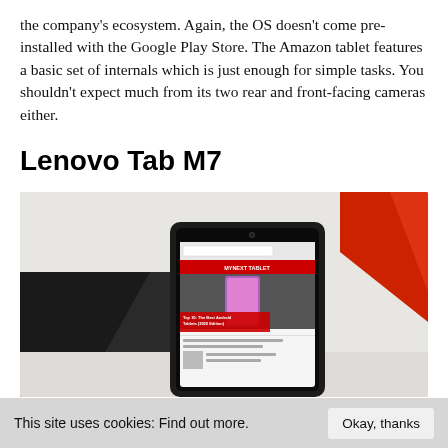the company's ecosystem. Again, the OS doesn't come pre-installed with the Google Play Store. The Amazon tablet features a basic set of internals which is just enough for simple tasks. You shouldn't expect much from its two rear and front-facing cameras either.
Lenovo Tab M7
[Figure (photo): Photo of a Lenovo Tab M7 tablet lying on a white surface, displaying the MyNextTablet website with an article titled 'Top 10: The Best Android Tablets (2020 Edition)'. A black notebook is visible on the left and a red object (book or folder) on the upper right.]
This site uses cookies: Find out more.